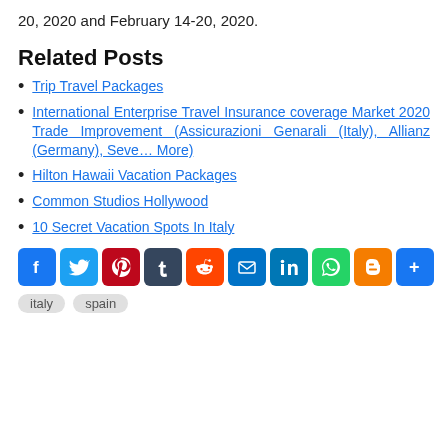20, 2020 and February 14-20, 2020.
Related Posts
Trip Travel Packages
International Enterprise Travel Insurance coverage Market 2020 Trade Improvement (Assicurazioni Genarali (Italy), Allianz (Germany), Seve… More)
Hilton Hawaii Vacation Packages
Common Studios Hollywood
10 Secret Vacation Spots In Italy
[Figure (infographic): Social media sharing icons row: Facebook (blue), Twitter (light blue), Pinterest (dark red), Tumblr (dark blue-grey), Reddit (orange-red), Email (blue), LinkedIn (dark blue), WhatsApp (green), Blogger (orange), Share/More (blue)]
italy   spain